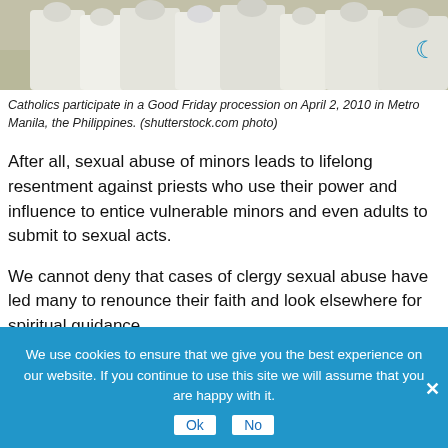[Figure (photo): Photo strip showing robed figures (Catholics) in a Good Friday procession, cropped at the top of the page]
Catholics participate in a Good Friday procession on April 2, 2010 in Metro Manila, the Philippines. (shutterstock.com photo)
After all, sexual abuse of minors leads to lifelong resentment against priests who use their power and influence to entice vulnerable minors and even adults to submit to sexual acts.
We cannot deny that cases of clergy sexual abuse have led many to renounce their faith and look elsewhere for spiritual guidance.
Hence, Pope Francis deserves credit for moving decisively in
We use cookies to ensure that we give you the best experience on our website. If you continue to use this site we will assume that you are happy with it.